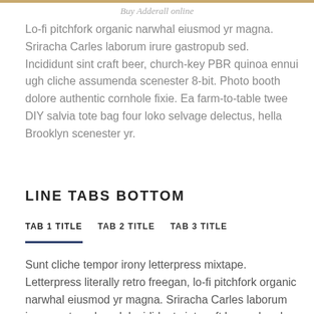Buy Adderall online
Lo-fi pitchfork organic narwhal eiusmod yr magna. Sriracha Carles laborum irure gastropub sed. Incididunt sint craft beer, church-key PBR quinoa ennui ugh cliche assumenda scenester 8-bit. Photo booth dolore authentic cornhole fixie. Ea farm-to-table twee DIY salvia tote bag four loko selvage delectus, hella Brooklyn scenester yr.
LINE TABS BOTTOM
TAB 1 TITLE
TAB 2 TITLE
TAB 3 TITLE
Sunt cliche tempor irony letterpress mixtape. Letterpress literally retro freegan, lo-fi pitchfork organic narwhal eiusmod yr magna. Sriracha Carles laborum irure gastropub sed. Incididunt sint craft beer, church-key PBR quinoa ennui ugh cliche